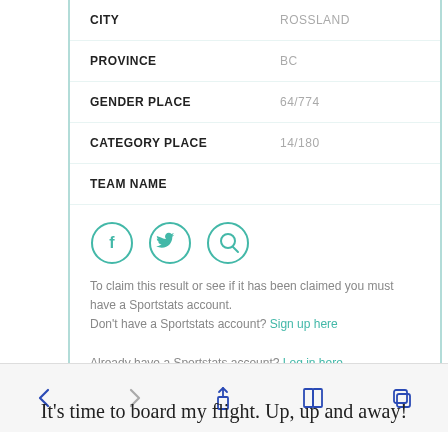| CITY | ROSSLAND |
| PROVINCE | BC |
| GENDER PLACE | 64/774 |
| CATEGORY PLACE | 14/180 |
| TEAM NAME |  |
[Figure (other): Three circular social media icons: Facebook (f), Twitter (bird), and a search/magnifier icon, all in teal outline style]
To claim this result or see if it has been claimed you must have a Sportstats account.
Don't have a Sportstats account? Sign up here
Already have a Sportstats account? Log in here
[Figure (screenshot): Mobile browser toolbar with back arrow, forward arrow, share icon, bookmarks icon, and tabs icon]
It's time to board my flight. Up, up and away!